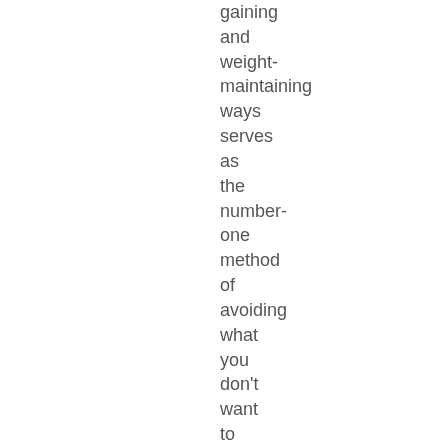gaining and weight-maintaining ways serves as the number-one method of avoiding what you don't want to know about yourself and your